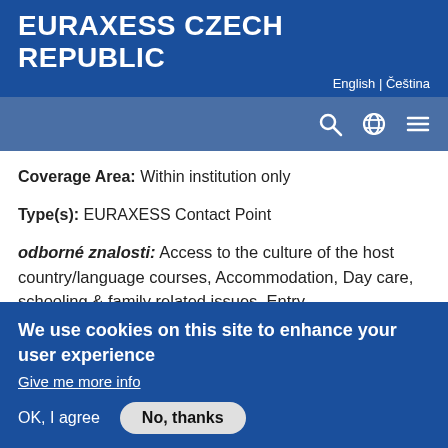EURAXESS CZECH REPUBLIC
English | Čeština
[Figure (screenshot): Navigation bar with search icon, globe icon, and hamburger menu icon on blue background]
Coverage Area: Within institution only
Type(s): EURAXESS Contact Point
odborné znalosti: Access to the culture of the host country/language courses, Accommodation, Day care, schooling & family related issues, Entry conditions/visas, Health insurance, Recognition of diplomas, Work permit
We use cookies on this site to enhance your user experience
Give me more info
OK, I agree    No, thanks